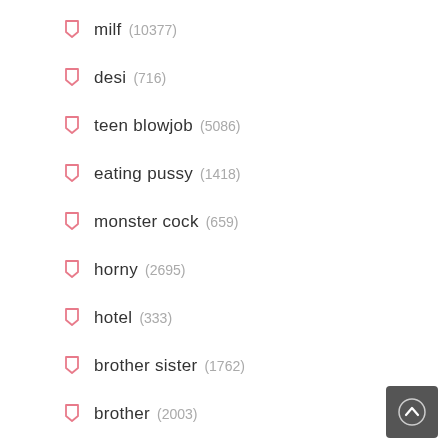milf (10377)
desi (716)
teen blowjob (5086)
eating pussy (1418)
monster cock (659)
horny (2695)
hotel (333)
brother sister (1762)
brother (2003)